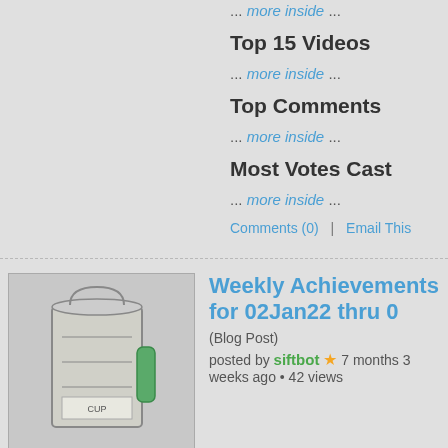... more inside ...
Top 15 Videos
... more inside ...
Top Comments
... more inside ...
Most Votes Cast
... more inside ...
Comments (0)  |  Email This
[Figure (photo): Thumbnail image of a measuring cup with green handle]
Weekly Achievements for 02Jan22 thru 0
(Blog Post)
posted by siftbot ★ 7 months 3 weeks ago • 42 views
#1 Video